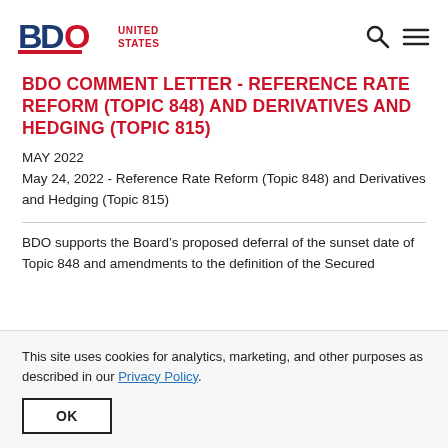BDO UNITED STATES
BDO COMMENT LETTER - REFERENCE RATE REFORM (TOPIC 848) AND DERIVATIVES AND HEDGING (TOPIC 815)
MAY 2022
May 24, 2022 - Reference Rate Reform (Topic 848) and Derivatives and Hedging (Topic 815)
BDO supports the Board’s proposed deferral of the sunset date of Topic 848 and amendments to the definition of the Secured
This site uses cookies for analytics, marketing, and other purposes as described in our Privacy Policy.
OK